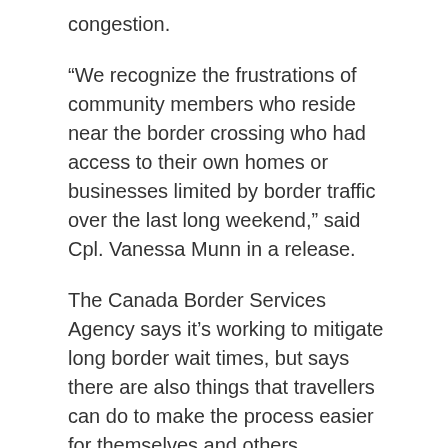congestion.
“We recognize the frustrations of community members who reside near the border crossing who had access to their own homes or businesses limited by border traffic over the last long weekend,” said Cpl. Vanessa Munn in a release.
The Canada Border Services Agency says it’s working to mitigate long border wait times, but says there are also things that travellers can do to make the process easier for themselves and others.
“This summer, travellers are returning to a border that is managed differently, with evolving COVID-19 requirements, which can mean